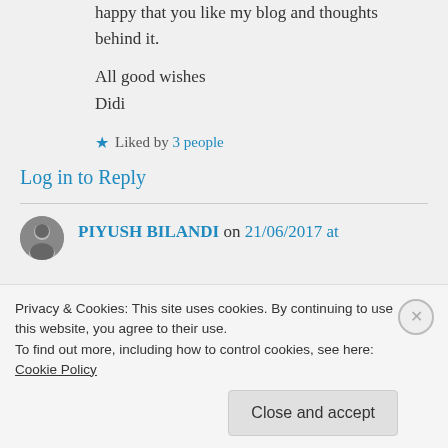happy that you like my blog and thoughts behind it.
All good wishes
Didi
★ Liked by 3 people
Log in to Reply
PIYUSH BILANDI on 21/06/2017 at
Privacy & Cookies: This site uses cookies. By continuing to use this website, you agree to their use.
To find out more, including how to control cookies, see here: Cookie Policy
Close and accept